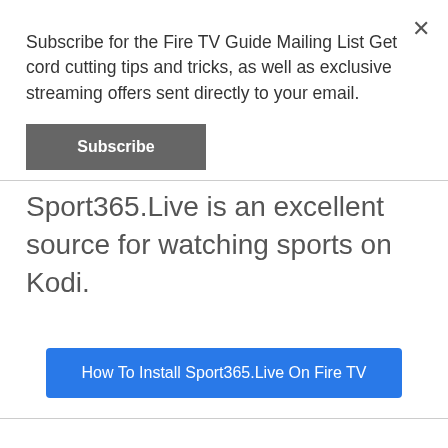Subscribe for the Fire TV Guide Mailing List Get cord cutting tips and tricks, as well as exclusive streaming offers sent directly to your email.
Subscribe
Sport365.Live is an excellent source for watching sports on Kodi.
How To Install Sport365.Live On Fire TV